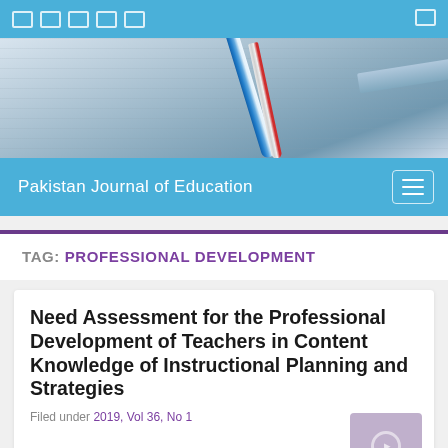Pakistan Journal of Education
[Figure (photo): Header hero image showing books, a blue pen/marker, a red and white pencil, and a ruler on a textbook background]
Pakistan Journal of Education
TAG: PROFESSIONAL DEVELOPMENT
Need Assessment for the Professional Development of Teachers in Content Knowledge of Instructional Planning and Strategies
Filed under 2019, Vol 36, No 1